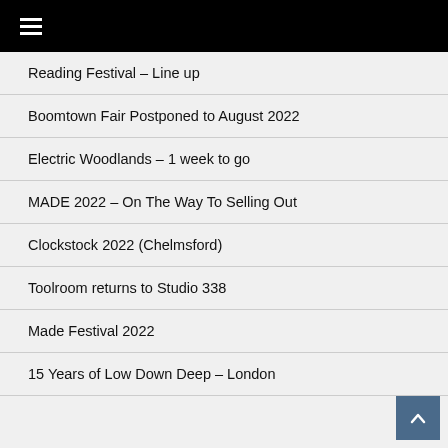≡
Reading Festival – Line up
Boomtown Fair Postponed to August 2022
Electric Woodlands – 1 week to go
MADE 2022 – On The Way To Selling Out
Clockstock 2022 (Chelmsford)
Toolroom returns to Studio 338
Made Festival 2022
15 Years of Low Down Deep – London